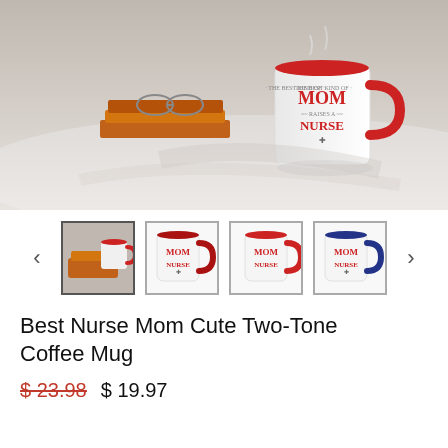[Figure (photo): A white two-tone coffee mug with red handle and interior, printed with 'THE BEST KIND OF MOM RAISES A NURSE', sitting on a white table next to a stack of books and glasses in a kitchen setting.]
[Figure (photo): Thumbnail 1: lifestyle scene with mug on table with books]
[Figure (photo): Thumbnail 2: red-handled 'MOM NURSE' mug front view]
[Figure (photo): Thumbnail 3: red-handled 'MOM NURSE' mug side view]
[Figure (photo): Thumbnail 4: navy-handled 'MOM NURSE' mug]
Best Nurse Mom Cute Two-Tone Coffee Mug
$ 23.98  $ 19.97